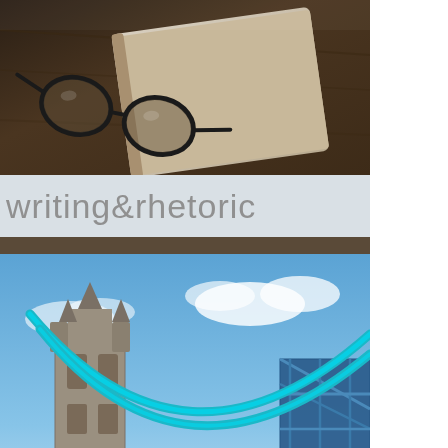[Figure (photo): Glasses and a laptop/notebook on a wooden desk, warm dark tones]
writing&rhetoric
[Figure (photo): Tower Bridge London with teal/cyan suspension cables, blue sky with clouds, river Thames below]
history
[Figure (photo): River Thames with city buildings, waterfront scene]
[Figure (photo): Cherry blossom trees in full bloom, pink flowers]